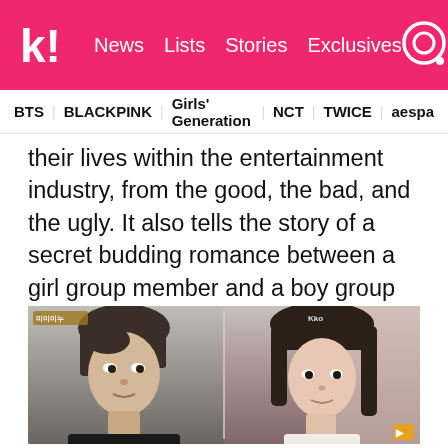Koreaboo — News | Lists | Stories | Exclusives
BTS  BLACKPINK  Girls' Generation  NCT  TWICE  aespa
their lives within the entertainment industry, from the good, the bad, and the ugly. It also tells the story of a secret budding romance between a girl group member and a boy group member.
[Figure (photo): Two side-by-side stills from a drama: left shows a young Korean man with dark hair looking seriously at the camera; right shows a young Korean woman with dark hair and bangs looking forward. Badges visible in corners.]